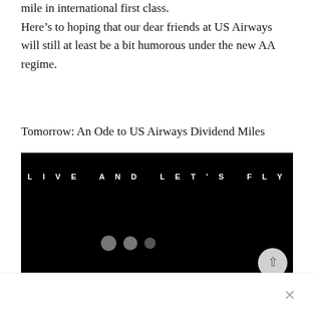mile in international first class.
Here’s to hoping that our dear friends at US Airways will still at least be a bit humorous under the new AA regime.
Tomorrow: An Ode to US Airways Dividend Miles
[Figure (screenshot): Black video/loading screen with white uppercase spaced-letter text reading 'LIVE AND LET'S FLY' and three grey loading dots below center.]